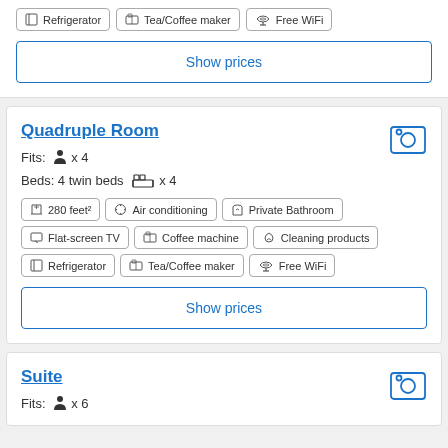Refrigerator, Tea/Coffee maker, Free WiFi
Show prices
Quadruple Room
Fits: person x 4
Beds: 4 twin beds x 4
280 feet², Air conditioning, Private Bathroom
Flat-screen TV, Coffee machine, Cleaning products
Refrigerator, Tea/Coffee maker, Free WiFi
Show prices
Suite
Fits: person x 6